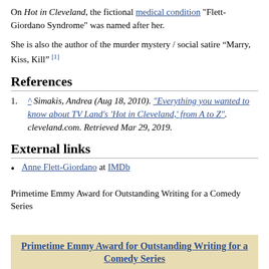On Hot in Cleveland, the fictional medical condition "Flett-Giordano Syndrome" was named after her.
She is also the author of the murder mystery / social satire “Marry, Kiss, Kill” [1]
References
^ Simakis, Andrea (Aug 18, 2010). "Everything you wanted to know about TV Land's 'Hot in Cleveland,' from A to Z". cleveland.com. Retrieved Mar 29, 2019.
External links
Anne Flett-Giordano at IMDb
Primetime Emmy Award for Outstanding Writing for a Comedy Series
Primetime Emmy Award for Outstanding Writing for a Comedy Series